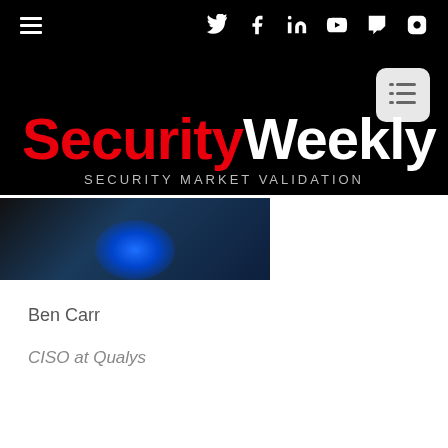Security Weekly - SECURITY MARKET VALIDATION
SecurityWeekly
SECURITY MARKET VALIDATION
[Figure (screenshot): Thumbnail image strip showing a dark scene with a blue glowing screen/monitor]
Ben Carr
CISO at Qualys